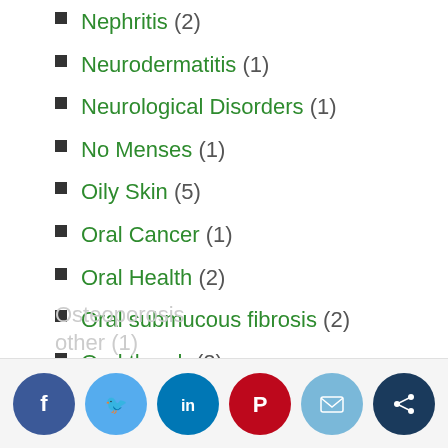Nephritis (2)
Neurodermatitis (1)
Neurological Disorders (1)
No Menses (1)
Oily Skin (5)
Oral Cancer (1)
Oral Health (2)
Oral submucous fibrosis (2)
Oral thrush (2)
Oromandibular Dystonia (1)
Osteoarthritis (10)
Osteoporosis (other) (1) [partially visible]